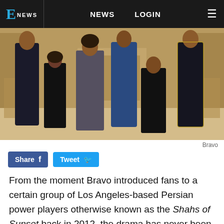E NEWS  NEWS  LOGIN
[Figure (photo): Group photo of cast members of Shahs of Sunset on Bravo — six people in formal attire posed in an ornate room with classic furniture]
Bravo
Share  Tweet
From the moment Bravo introduced fans to a certain group of Los Angeles-based Persian power players otherwise known as the Shahs of Sunset back in 2012, the drama has never been far behind.